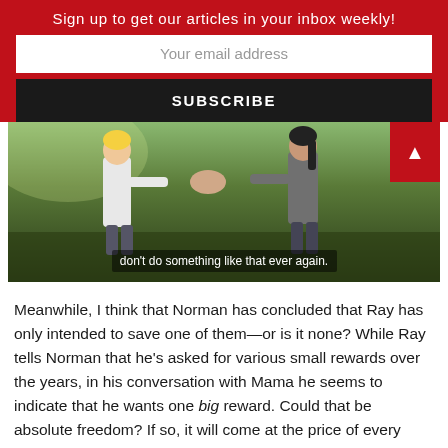Sign up to get our articles in your inbox weekly!
Your email address
SUBSCRIBE
[Figure (screenshot): Anime scene showing two characters facing each other outdoors with grass in the background, with subtitle text reading: don't do something like that ever again.]
Meanwhile, I think that Norman has concluded that Ray has only intended to save one of them—or is it none? While Ray tells Norman that he's asked for various small rewards over the years, in his conversation with Mama he seems to indicate that he wants one big reward. Could that be absolute freedom? If so, it will come at the price of every child in the family—Emma and Norman included.